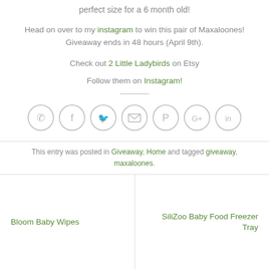perfect size for a 6 month old!
Head on over to my instagram to win this pair of Maxaloones! Giveaway ends in 48 hours (April 9th).
Check out 2 Little Ladybirds on Etsy
Follow them on Instagram!
[Figure (infographic): Row of 7 social media icon circles: phone, facebook, twitter, email, pinterest, google+, linkedin]
This entry was posted in Giveaway, Home and tagged giveaway, maxaloones.
Bloom Baby Wipes
SiliZoo Baby Food Freezer Tray